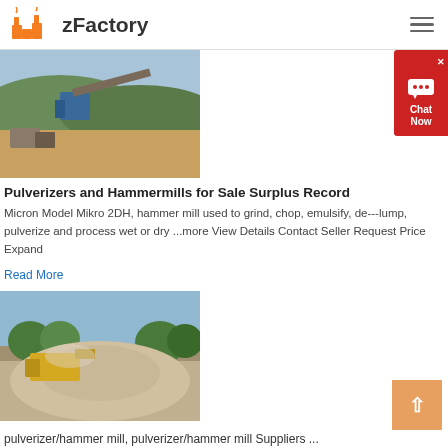zFactory
[Figure (photo): Industrial quarry or mining site with conveyor belt, machinery, and hillside landscape in background]
Pulverizers and Hammermills for Sale Surplus Record
Micron Model Mikro 2DH, hammer mill used to grind, chop, emulsify, de---lump, pulverize and process wet or dry ...more View Details Contact Seller Request Price Expand
Read More
[Figure (photo): Construction or quarrying site with yellow machinery and large pile of sand/gravel, trees in background]
pulverizer/hammer mill, pulverizer/hammer mill Suppliers ...